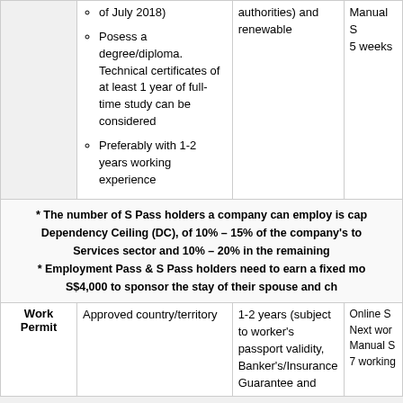| Type | Eligibility Criteria | Duration | Processing |
| --- | --- | --- | --- |
|  | Posess a degree/diploma. Technical certificates of at least 1 year of full-time study can be considered
Preferably with 1-2 years working experience | authorities) and renewable | Manual S
5 weeks |
| * The number of S Pass holders a company can employ is cap... Dependency Ceiling (DC), of 10% – 15% of the company's to... Services sector and 10% – 20% in the remaining...
* Employment Pass & S Pass holders need to earn a fixed mo... S$4,000 to sponsor the stay of their spouse and ch... |  |  |  |
| Work Permit | Approved country/territory | 1-2 years (subject to worker's passport validity, Banker's/Insurance Guarantee and | Online S
Next wor
Manual S
7 working |